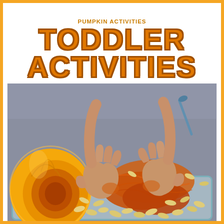PUMPKIN ACTIVITIES TODDLER ACTIVITIES
[Figure (photo): A toddler's hands scooping and playing with orange pumpkin pulp and seeds in a clear glass baking dish, with a halved pumpkin visible on the left side showing the orange interior cavity.]